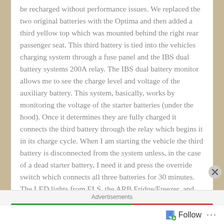be recharged without performance issues. We replaced the two original batteries with the Optima and then added a third yellow top which was mounted behind the right rear passenger seat. This third battery is tied into the vehicles charging system through a fuse panel and the IBS dual battery systems 200A relay. The IBS dual battery monitor allows me to see the charge level and voltage of the auxiliary battery. This system, basically, works by monitoring the voltage of the starter batteries (under the hood). Once it determines they are fully charged it connects the third battery through the relay which begins it in its charge cycle. When I am starting the vehicle the third battery is disconnected from the system unless, in the case of a dead starter battery, I need it and press the override switch which connects all three batteries for 30 minutes. The LED lights from ELS, the ARB Fridge/Freezer, and the winch are
Advertisements